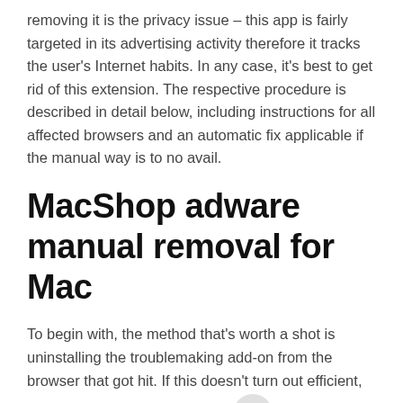removing it is the privacy issue – this app is fairly targeted in its advertising activity therefore it tracks the user's Internet habits. In any case, it's best to get rid of this extension. The respective procedure is described in detail below, including instructions for all affected browsers and an automatic fix applicable if the manual way is to no avail.
MacShop adware manual removal for Mac
To begin with, the method that's worth a shot is uninstalling the troublemaking add-on from the browser that got hit. If this doesn't turn out efficient, settings for the web browser should be restored to their default values. The overview of steps for this procedure is as follows: